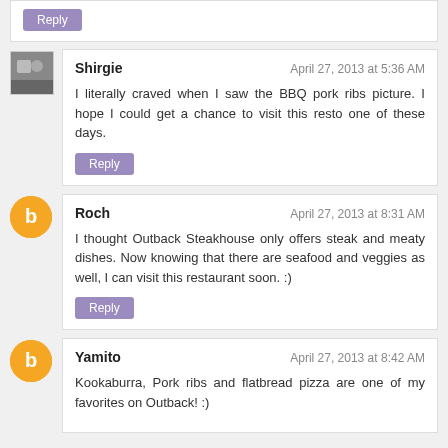Reply
Shirgie — April 27, 2013 at 5:36 AM
I literally craved when I saw the BBQ pork ribs picture. I hope I could get a chance to visit this resto one of these days.
Reply
Roch — April 27, 2013 at 8:31 AM
I thought Outback Steakhouse only offers steak and meaty dishes. Now knowing that there are seafood and veggies as well, I can visit this restaurant soon. :)
Reply
Yamito — April 27, 2013 at 8:42 AM
Kookaburra, Pork ribs and flatbread pizza are one of my favorites on Outback! :)